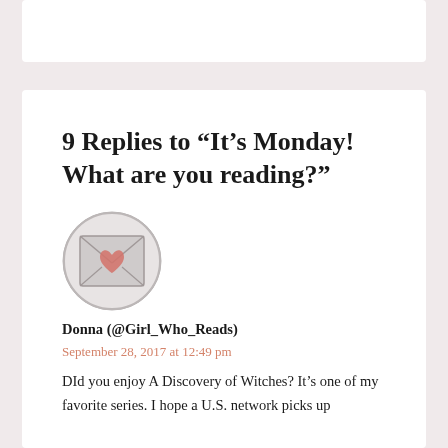9 Replies to “It’s Monday! What are you reading?”
[Figure (illustration): Circular avatar image showing a stylized book or letter design with a heart, gray tones]
Donna (@Girl_Who_Reads)
September 28, 2017 at 12:49 pm
DId you enjoy A Discovery of Witches? It’s one of my favorite series. I hope a U.S. network picks up